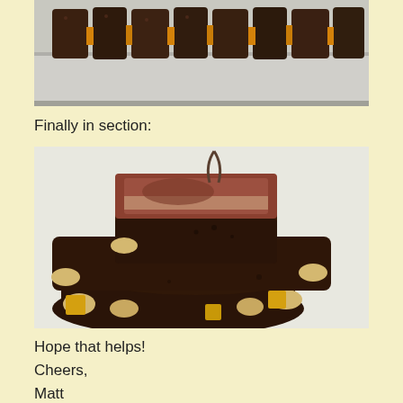[Figure (photo): Cooked ribs on a metal tray, viewed from above, with rub seasoning visible, partially cut]
Finally in section:
[Figure (photo): Close-up of heavily spiced smoked ribs piled on a white surface, one rib cut open showing interior meat]
Hope that helps!
Cheers,
Matt